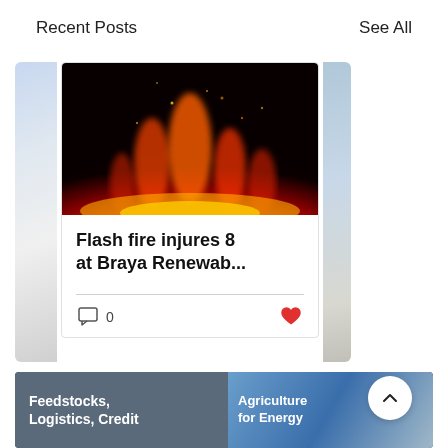Recent Posts
See All
[Figure (photo): Fire/explosion image with red, orange and yellow flames against a dark background]
Flash fire injures 8 at Braya Renewab...
0
[Figure (photo): Left peek: partial view of a classical white column building with blue sky]
[Figure (photo): Right peek: partial view of a beach or coastal scene]
Feedstocks, Logistics, Credit
Agriculture for Energy